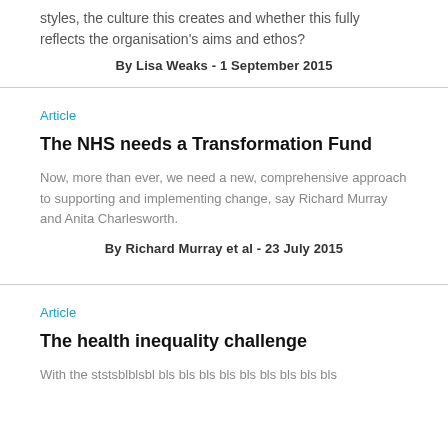styles, the culture this creates and whether this fully reflects the organisation's aims and ethos?
By Lisa Weaks - 1 September 2015
Article
The NHS needs a Transformation Fund
Now, more than ever, we need a new, comprehensive approach to supporting and implementing change, say Richard Murray and Anita Charlesworth.
By Richard Murray et al - 23 July 2015
Article
The health inequality challenge
With the ststsblblsbl bls bls bls bls bls bls bls bls bls